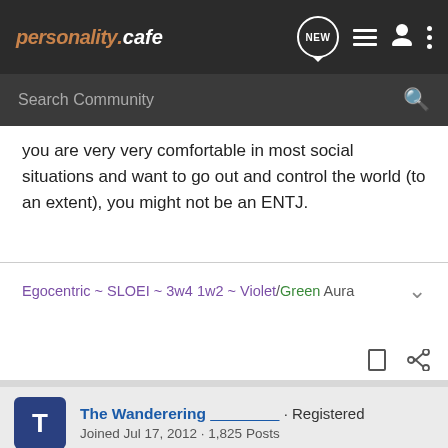personality cafe
you are very very comfortable in most social situations and want to go out and control the world (to an extent), you might not be an ENTJ.
Egocentric ~ SLOEI ~ 3w4 1w2 ~ Violet/Green Aura
The Wanderering ________ · Registered
Joined Jul 17, 2012 · 1,825 Posts
Discussion Starter · #8 · Dec 27, 2012
Okay. I took 3 cognitive functions test and I ended up as INTJ,